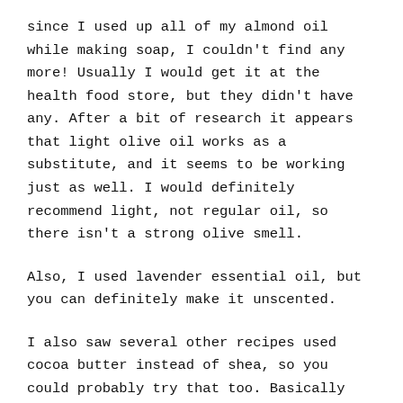since I used up all of my almond oil while making soap, I couldn't find any more! Usually I would get it at the health food store, but they didn't have any. After a bit of research it appears that light olive oil works as a substitute, and it seems to be working just as well. I would definitely recommend light, not regular oil, so there isn't a strong olive smell.
Also, I used lavender essential oil, but you can definitely make it unscented.
I also saw several other recipes used cocoa butter instead of shea, so you could probably try that too. Basically the most important part is that you need to have equal parts oil to butter.